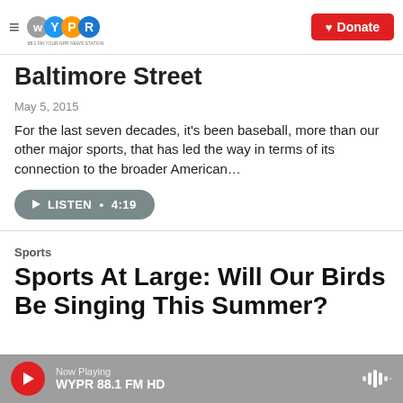WYPR 88.1 FM YOUR NPR NEWS STATION — Donate
Baltimore Street
May 5, 2015
For the last seven decades, it's been baseball, more than our other major sports, that has led the way in terms of its connection to the broader American...
LISTEN • 4:19
Sports
Sports At Large: Will Our Birds Be Singing This Summer?
Now Playing WYPR 88.1 FM HD